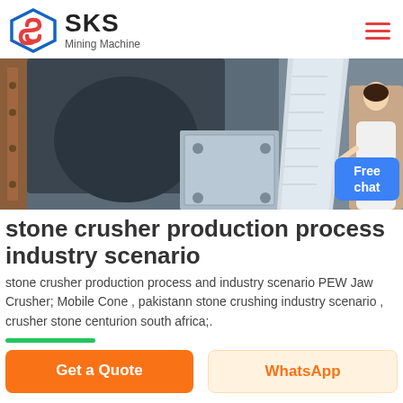SKS Mining Machine
[Figure (photo): Close-up photo of large industrial stone crusher machinery components in a factory setting, showing dark metal crusher parts and a white conical machine structure in the background. A woman in white coat appears in the right side overlay.]
stone crusher production process industry scenario
stone crusher production process and industry scenario PEW Jaw Crusher; Mobile Cone , pakistann stone crushing industry scenario , crusher stone centurion south africa;.
[Figure (other): Green horizontal progress/divider bar]
Get a Quote
WhatsApp